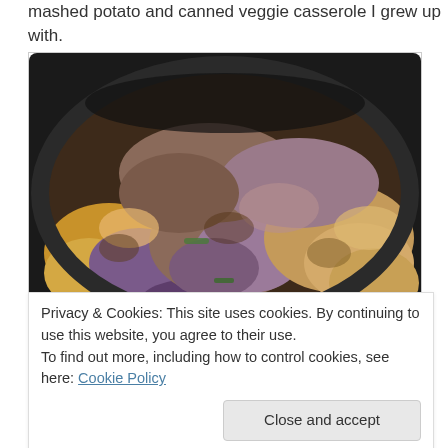mashed potato and canned veggie casserole I grew up with.
[Figure (photo): A cast iron skillet filled with roasted mixed vegetables including purple potatoes, cauliflower, green beans, and other colorful vegetables.]
Privacy & Cookies: This site uses cookies. By continuing to use this website, you agree to their use.
To find out more, including how to control cookies, see here: Cookie Policy
made dinner for our Sunday guests: it's one of our favorite